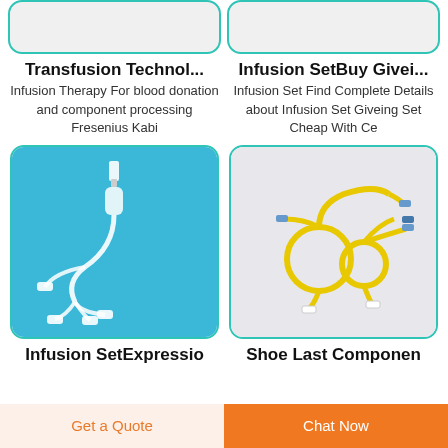[Figure (photo): Top partial product card image placeholder (left) - infusion therapy product]
[Figure (photo): Top partial product card image placeholder (right) - infusion set product]
Transfusion Technol...
Infusion Therapy For blood donation and component processing Fresenius Kabi
Infusion SetBuy Givei...
Infusion Set Find Complete Details about Infusion Set Giveing Set Cheap With Ce
[Figure (photo): Blue background infusion set with multiple tubing lines and connectors]
[Figure (photo): Yellow infusion set tubing coiled on light background with connectors]
Infusion SetExpressio
Shoe Last Componen
Get a Quote
Chat Now